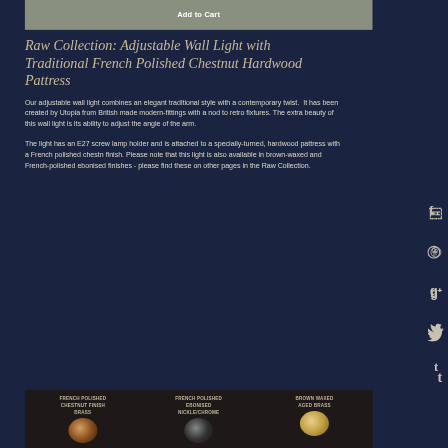Add to Cart
Raw Collection: Adjustable Wall Light with Traditional French Polished Chestnut Hardwood Pattress
Our adjustable wall light combines an elegant traditional style with a contemporary twist.  It has been created by Utopia from British made modern-fittings with a nod to retro fixtures. The extra beauty of this wall light is its ability to adjust the angle of the arm.
The light has an E27 screw lamp holder and is attached to a specially-turned, hardwood pattress with a French polished chestn finish. Please note that this light is also available in brown-waxed and French-polished ebonised finishes - please find these on other pages in the Raw Collection.
FRENCH POLISHED CHESTNUT FINISH BRASS
FRENCH POLISHED EBONISED NICKLE/CHROME
BROWN WAXED AGED BRASS